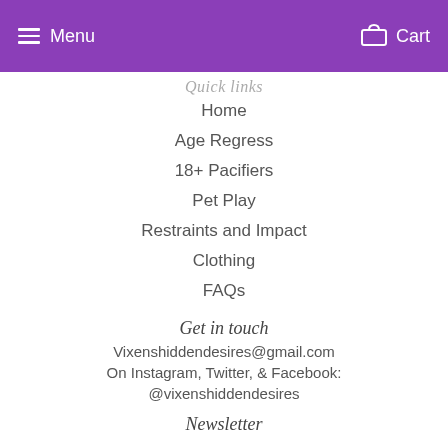Menu  Cart
Quick links
Home
Age Regress
18+ Pacifiers
Pet Play
Restraints and Impact
Clothing
FAQs
Get in touch
Vixenshiddendesires@gmail.com
On Instagram, Twitter, & Facebook:
@vixenshiddendesires
Newsletter